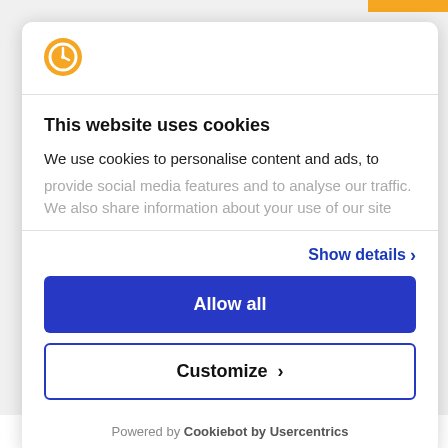[Figure (logo): Cookiebot orange circular logo icon with clock/cookie symbol]
This website uses cookies
We use cookies to personalise content and ads, to provide social media features and to analyse our traffic. We also share information about your use of our site
Show details ›
Allow all
Customize ›
Powered by Cookiebot by Usercentrics
There are many reasons for promoting plastic